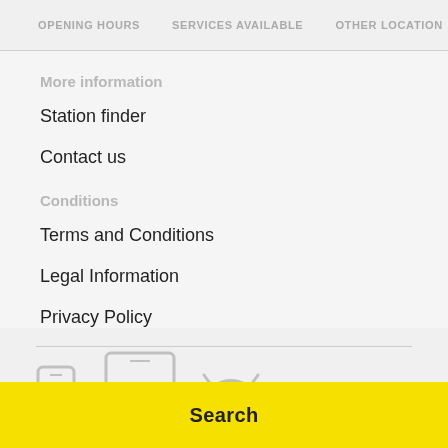OPENING HOURS   SERVICES AVAILABLE   OTHER LOCATION
More information
Station finder
Contact us
Conditions
Terms and Conditions
Legal Information
Privacy Policy
[Figure (illustration): Icons of a smartphone, tablet, and Android robot logo in light gray]
Search